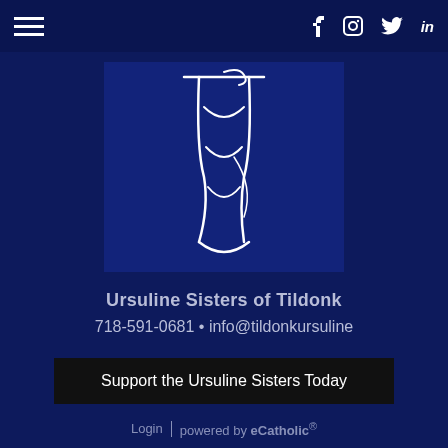Navigation bar with hamburger menu and social icons: f (Facebook), Instagram, Twitter, LinkedIn
[Figure (logo): Ursuline Sisters of Tildonk logo — stylized white calligraphic figure on dark navy background]
Ursuline Sisters of Tildonk
718-591-0681 • info@tildonkursuline
Support the Ursuline Sisters Today
Login | powered by eCatholic®